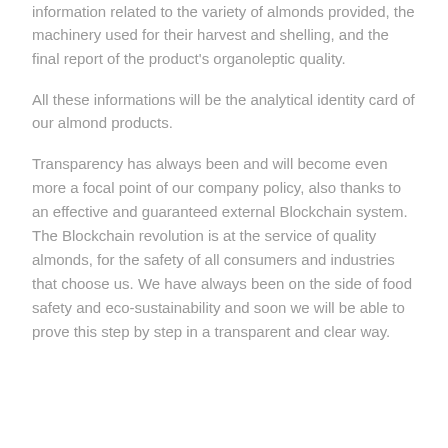information related to the variety of almonds provided, the machinery used for their harvest and shelling, and the final report of the product's organoleptic quality.
All these informations will be the analytical identity card of our almond products.
Transparency has always been and will become even more a focal point of our company policy, also thanks to an effective and guaranteed external Blockchain system. The Blockchain revolution is at the service of quality almonds, for the safety of all consumers and industries that choose us. We have always been on the side of food safety and eco-sustainability and soon we will be able to prove this step by step in a transparent and clear way.